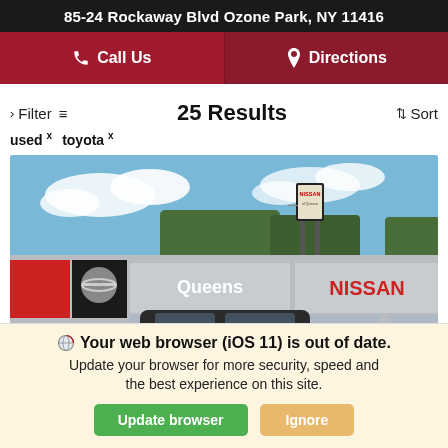85-24 Rockaway Blvd Ozone Park, NY 11416
Call Us | Directions
Filter   25 Results   Sort
used × toyota ×
[Figure (photo): Exterior photo of Queens Nissan dealership at 85-24 Rockaway Blvd, showing the showroom building with NISSAN signage and a dark car in the foreground]
Your web browser (iOS 11) is out of date. Update your browser for more security, speed and the best experience on this site.
Update browser  Ignore